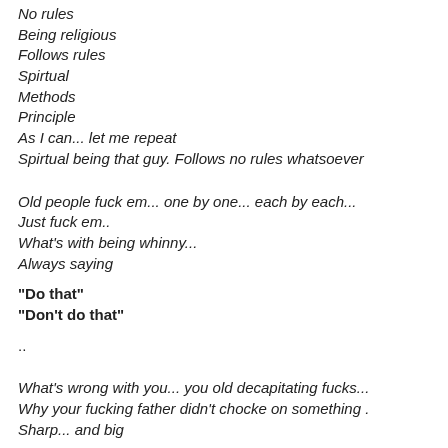No rules
Being religious
Follows rules
Spirtual
Methods
Principle
As I can... let me repeat
Spirtual being that guy. Follows no rules whatsoever
Old people fuck em... one by one... each by each...
Just fuck em..
What's with being whinny...
Always saying
"Do that"
"Don't do that"
..
What's wrong with you... you old decapitating fucks...
Why your fucking father didn't chocke on something .
Sharp... and big